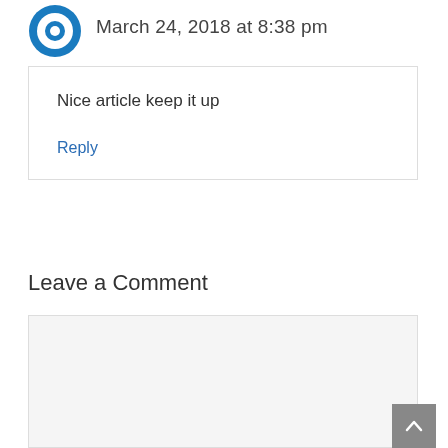[Figure (logo): Blue circular avatar icon]
March 24, 2018 at 8:38 pm
Nice article keep it up
Reply
Leave a Comment